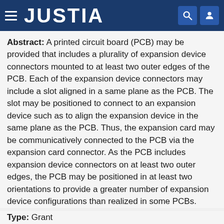JUSTIA
Abstract: A printed circuit board (PCB) may be provided that includes a plurality of expansion device connectors mounted to at least two outer edges of the PCB. Each of the expansion device connectors may include a slot aligned in a same plane as the PCB. The slot may be positioned to connect to an expansion device such as to align the expansion device in the same plane as the PCB. Thus, the expansion card may be communicatively connected to the PCB via the expansion card connector. As the PCB includes expansion device connectors on at least two outer edges, the PCB may be positioned in at least two orientations to provide a greater number of expansion device configurations than realized in some PCBs.
Type: Grant
Filed: February 26, 2018
Date of Patent: March 23, 2021